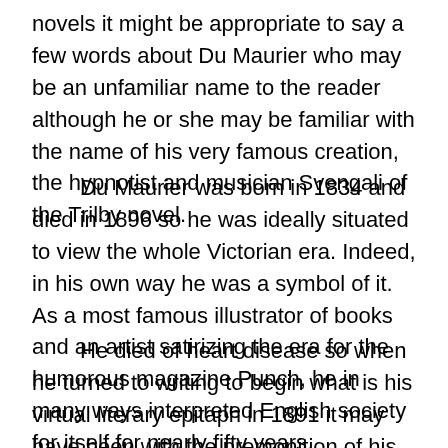novels it might be appropriate to say a few words about Du Maurier who may be an unfamiliar name to the reader although he or she may be familiar with the name of his very famous creation, the hypnotist and musician Svengali of the Trilby novel.
Du Maurier was born in 1834 and died in 1896 so he was ideally situated to view the whole Victorian era. Indeed, in his own way he was a symbol of it. As a most famous illustrator of books and an artist satirizing the era for the humorous magazine Punch, he in many ways interpreted English society for itself for nearly fifty years.
He died of heart disease so when he turned to writing to begin what is his virtual literary epitaph in 1891 it may have been with the premonition of his imminent death. He sensed that it was time for a summing up of the life he